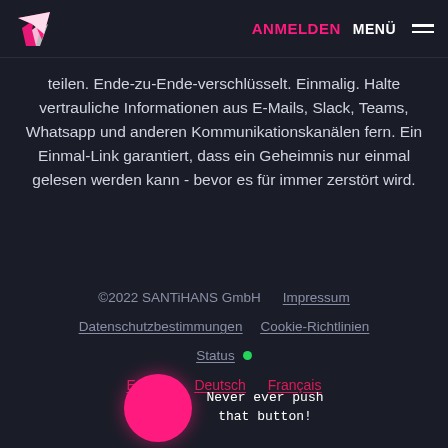ANMELDEN  MENÜ
teilen. Ende-zu-Ende-verschlüsselt. Einmalig. Halte vertrauliche Informationen aus E-Mails, Slack, Teams, Whatsapp und anderen Kommunikationskanälen fern. Ein Einmal-Link garantiert, dass ein Geheimnis nur einmal gelesen werden kann - bevor es für immer zerstört wird.
©2022 SANTiHANS GmbH  Impressum  Datenschutzbestimmungen  Cookie-Richtlinien  Status  English  Deutsch  Français
[Figure (illustration): Large pink circular button with text 'Never ever push that button!' in monospace font]